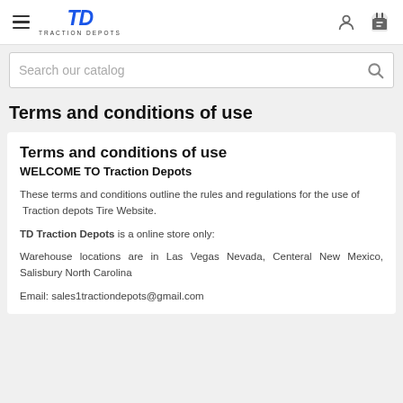≡  TD TRACTION DEPOTS  [user icon] [cart icon]
Search our catalog
Terms and conditions of use
Terms and conditions of use
WELCOME TO Traction Depots
These terms and conditions outline the rules and regulations for the use of  Traction depots Tire Website.
TD Traction Depots is a online store only:
Warehouse locations are in Las Vegas Nevada, Centeral New Mexico, Salisbury North Carolina
Email: sales1tractiondepots@gmail.com